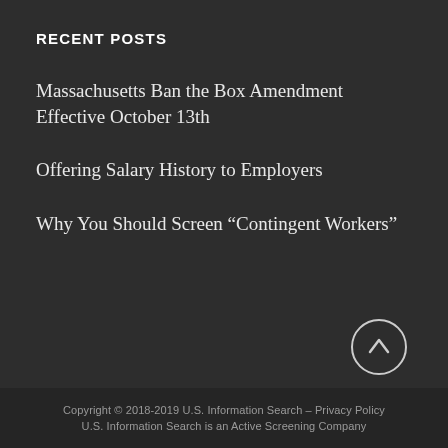RECENT POSTS
Massachusetts Ban the Box Amendment Effective October 13th
Offering Salary History to Employers
Why You Should Screen “Contingent Workers”
Copyright © 2018-2019 U.S. Information Search – Privacy Policy
U.S. Information Search is an Active Screening Company